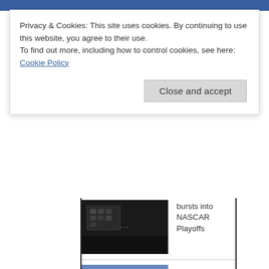Privacy & Cookies: This site uses cookies. By continuing to use this website, you agree to their use.
To find out more, including how to control cookies, see here: Cookie Policy
Close and accept
bursts into NASCAR Playoffs
[Figure (photo): Dark photo showing what appears to be a building or indoor sports venue]
Toyota exec David Wilson: 'I don't want to race against a pissed-off Kyle Busch'
[Figure (photo): People at what appears to be a race event or press conference]
Cup Series Playoffs field is set
[Figure (photo): NASCAR race car on track]